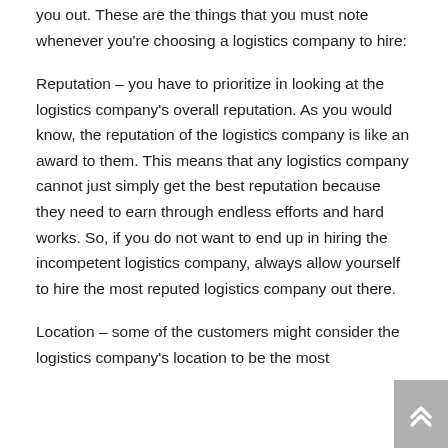you out. These are the things that you must note whenever you're choosing a logistics company to hire:
Reputation – you have to prioritize in looking at the logistics company's overall reputation. As you would know, the reputation of the logistics company is like an award to them. This means that any logistics company cannot just simply get the best reputation because they need to earn through endless efforts and hard works. So, if you do not want to end up in hiring the incompetent logistics company, always allow yourself to hire the most reputed logistics company out there.
Location – some of the customers might consider the logistics company's location to be the most